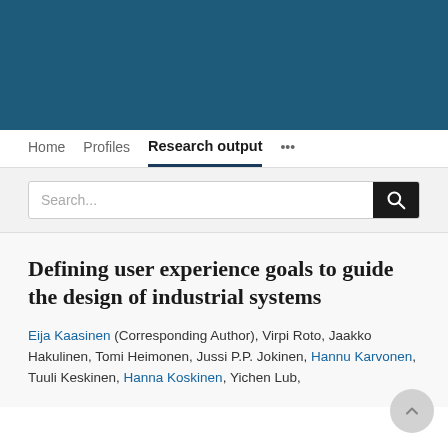Home   Profiles   Research output   ...
Search...
Defining user experience goals to guide the design of industrial systems
Eija Kaasinen (Corresponding Author), Virpi Roto, Jaakko Hakulinen, Tomi Heimonen, Jussi P.P. Jokinen, Hannu Karvonen, Tuuli Keskinen, Hanna Koskinen, Yichen Lub,